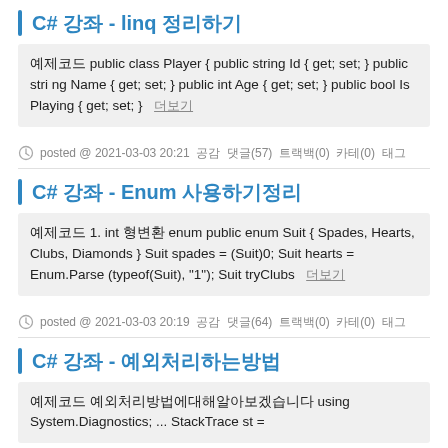C# 강좌 - linq 정리하기
예제코드 public class Player { public string Id { get; set; } public string Name { get; set; } public int Age { get; set; } public bool IsPlaying { get; set; }  더보기
posted @ 2021-03-03 20:21 공감 댓글(57) 트랙백(0) 카테(0) 태그
C# 강좌 - Enum 사용하기정리
예제코드 1. int 형변환 enum public enum Suit { Spades, Hearts, Clubs, Diamonds } Suit spades = (Suit)0; Suit hearts = Enum.Parse(typeof(Suit), "1"); Suit tryClubs  더보기
posted @ 2021-03-03 20:19 공감 댓글(64) 트랙백(0) 카테(0) 태그
C# 강좌 - 예외처리하는방법
예제코드 예외처리방법에대해알아보겠습니다 using System.Diagnostics; ... StackTrace st =